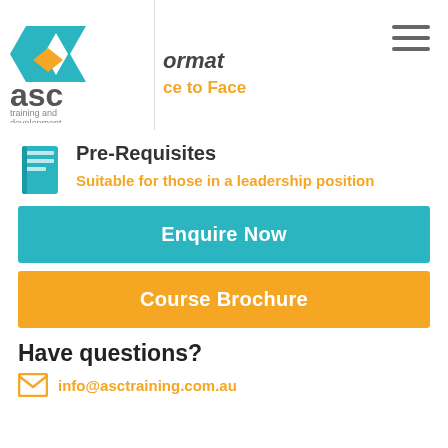[Figure (logo): ASC Training and Development logo with teal/orange chevron icon and 'asc training and development' text]
Format
Face to Face
Pre-Requisites
Suitable for those in a leadership position
Enquire Now
Course Brochure
Have questions?
info@asctraining.com.au